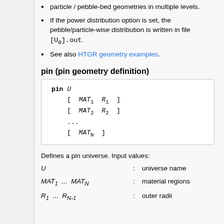particle / pebble-bed geometries in multiple levels.
If the power distribution option is set, the pebble/particle-wise distribution is written in file [U₀].out.
See also HTGR geometry examples.
pin (pin geometry definition)
Defines a pin universe. Input values:
| Term | Definition |
| --- | --- |
| U | universe name |
| MAT₁ ... MATₙ | material regions |
| R₁ ... R_{N-1} | outer radii |